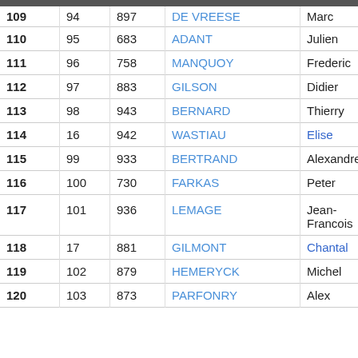| Rank | Num1 | Num2 | Last Name | First Name | Extra |
| --- | --- | --- | --- | --- | --- |
| 109 | 94 | 897 | DE VREESE | Marc | Jo |
| 110 | 95 | 683 | ADANT | Julien | C |
| 111 | 96 | 758 | MANQUOY | Frederic |  |
| 112 | 97 | 883 | GILSON | Didier |  |
| 113 | 98 | 943 | BERNARD | Thierry |  |
| 114 | 16 | 942 | WASTIAU | Elise |  |
| 115 | 99 | 933 | BERTRAND | Alexandre | H |
| 116 | 100 | 730 | FARKAS | Peter |  |
| 117 | 101 | 936 | LEMAGE | Jean-Francois | Jt |
| 118 | 17 | 881 | GILMONT | Chantal | Jt |
| 119 | 102 | 879 | HEMERYCK | Michel | B |
| 120 | 103 | 873 | PARFONRY | Alex |  |